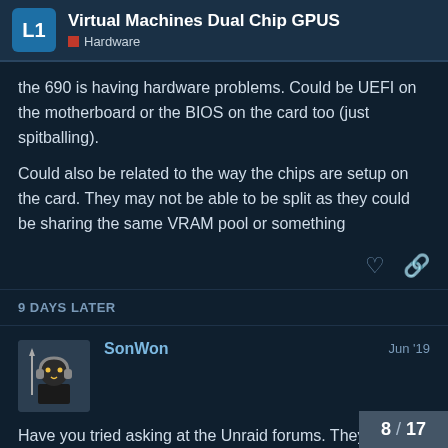Virtual Machines Dual Chip GPUS — Hardware
the 690 is having hardware problems. Could be UEFI on the motherboard or the BIOS on the card too (just spitballing).
Could also be related to the way the chips are setup on the card. They may not be able to be split as they could be sharing the same VRAM pool or something
9 DAYS LATER
SonWon — Jun '19
Have you tried asking at the Unraid forums. They can usually be helpful unless you are not conforming to their expected Unraid usage.
8 / 17